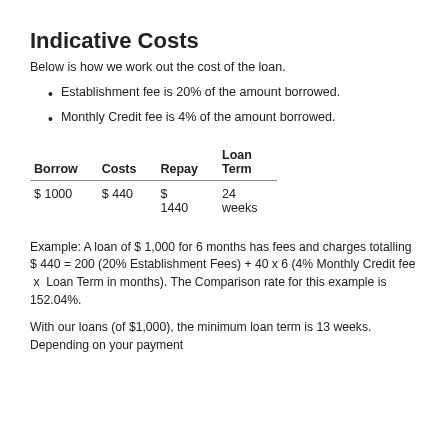Indicative Costs
Below is how we work out the cost of the loan.
Establishment fee is 20% of the amount borrowed.
Monthly Credit fee is 4% of the amount borrowed.
| Borrow | Costs | Repay | Loan Term |
| --- | --- | --- | --- |
| $ 1000 | $ 440 | $ 1440 | 24 weeks |
Example: A loan of $ 1,000 for 6 months has fees and charges totalling $ 440 = 200 (20% Establishment Fees) + 40 x 6 (4% Monthly Credit fee  x  Loan Term in months). The Comparison rate for this example is 152.04%.
With our loans (of $1,000), the minimum loan term is 13 weeks. Depending on your payment